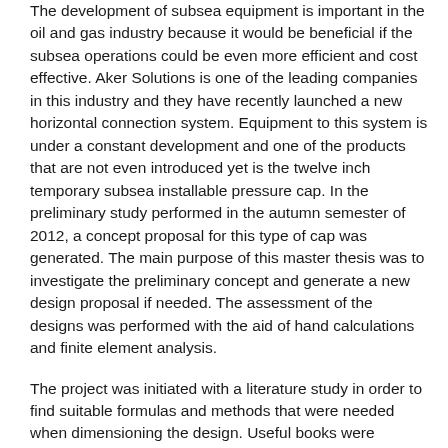The development of subsea equipment is important in the oil and gas industry because it would be beneficial if the subsea operations could be even more efficient and cost effective. Aker Solutions is one of the leading companies in this industry and they have recently launched a new horizontal connection system. Equipment to this system is under a constant development and one of the products that are not even introduced yet is the twelve inch temporary subsea installable pressure cap. In the preliminary study performed in the autumn semester of 2012, a concept proposal for this type of cap was generated. The main purpose of this master thesis was to investigate the preliminary concept and generate a new design proposal if needed. The assessment of the designs was performed with the aid of hand calculations and finite element analysis.
The project was initiated with a literature study in order to find suitable formulas and methods that were needed when dimensioning the design. Useful books were “Design of machine elements” by Bhandari V.B and “Theory of machines and mechanisms III” by Phakatkar H.G. The former provided a practical approach on how to assess the frictional loss in linkages with pin joints, while the second one provided methods for dimensioning pin bolts and power screws. The standard “ASME 8 div. 2, rules for construction of pressure vessel (section about: design rules for